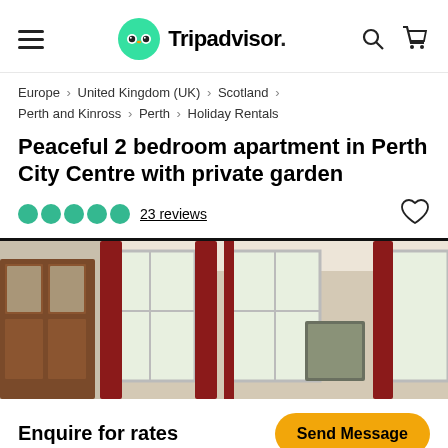Tripadvisor navigation bar with hamburger menu, Tripadvisor logo, search and cart icons
Europe > United Kingdom (UK) > Scotland > Perth and Kinross > Perth > Holiday Rentals
Peaceful 2 bedroom apartment in Perth City Centre with private garden
23 reviews
[Figure (photo): Interior photo of a living room with red curtains, white windows, cream walls, a wooden cabinet and a framed picture on the wall]
Enquire for rates
Send Message